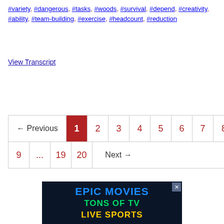#variety, #dangerous, #tasks, #woods, #survival, #depend, #creativity, #ability, #team-building, #exercise, #headcount, #reduction
View Transcript
[Figure (other): Pagination control with Previous, page numbers 1-9, ellipsis, 19, 20, and Next buttons. Page 1 is active (highlighted in dark red).]
[Figure (other): Advertisement banner with dark navy background showing 'EPIC MOVIES', 'TONS OF TV', 'LIVE SPORTS' in blue, green, and yellow text respectively, with a close button.]